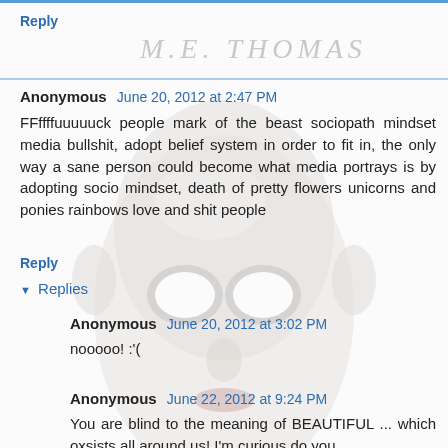Reply
[Figure (illustration): Handwritten signature 'M.E. THOMAS' in light gray pencil script]
[Figure (photo): A white mannequin/mask face with hollow eyes overlaying the comment section background]
Anonymous June 20, 2012 at 2:47 PM
FFffffuuuuuck people mark of the beast sociopath mindset media bullshit, adopt belief system in order to fit in, the only way a sane person could become what media portrays is by adopting socio mindset, death of pretty flowers unicorns and ponies rainbows love and shit people
Reply
Replies
Anonymous June 20, 2012 at 3:02 PM
nooooo! :'(
Anonymous June 22, 2012 at 9:24 PM
You are blind to the meaning of BEAUTIFUL ... which oxsists all around us! I'm curious do you